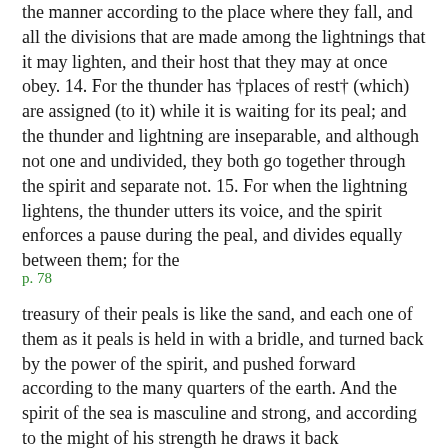the manner according to the place where they fall, and all the divisions that are made among the lightnings that it may lighten, and their host that they may at once obey. 14. For the thunder has †places of rest† (which) are assigned (to it) while it is waiting for its peal; and the thunder and lightning are inseparable, and although not one and undivided, they both go together through the spirit and separate not. 15. For when the lightning lightens, the thunder utters its voice, and the spirit enforces a pause during the peal, and divides equally between them; for the
p. 78
treasury of their peals is like the sand, and each one of them as it peals is held in with a bridle, and turned back by the power of the spirit, and pushed forward according to the many quarters of the earth. And the spirit of the sea is masculine and strong, and according to the might of his strength he draws it back